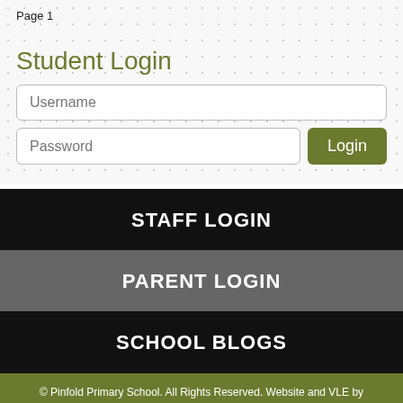Page 1
Student Login
Username
Password
Login
STAFF LOGIN
PARENT LOGIN
SCHOOL BLOGS
© Pinfold Primary School. All Rights Reserved. Website and VLE by School Spider